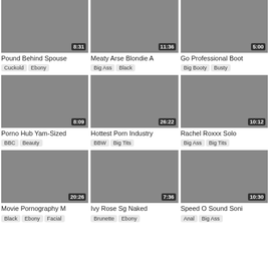[Figure (photo): Video thumbnail with duration 8:31]
Pound Behind Spouse
Cuckold  Ebony
[Figure (photo): Video thumbnail with duration 11:36]
Meaty Arse Blondie A
Big Ass  Black
[Figure (photo): Video thumbnail with duration 5:00]
Go Professional Boot
Big Booty  Busty
[Figure (photo): Video thumbnail with duration 8:09]
Porno Hub Yam-Sized
BBC  Beauty
[Figure (photo): Video thumbnail with duration 26:22]
Hottest Porn Industry
BBW  Big Tits
[Figure (photo): Video thumbnail with duration 10:12]
Rachel Roxxx Solo
Big Ass  Big Tits
[Figure (photo): Video thumbnail with duration 20:26]
Movie Pornography M
Black  Ebony  Facial
[Figure (photo): Video thumbnail with duration 7:36]
Ivy Rose Sg Naked
Brunette  Ebony
[Figure (photo): Video thumbnail with duration 10:30]
Speed O Sound Soni
Anal  Big Ass